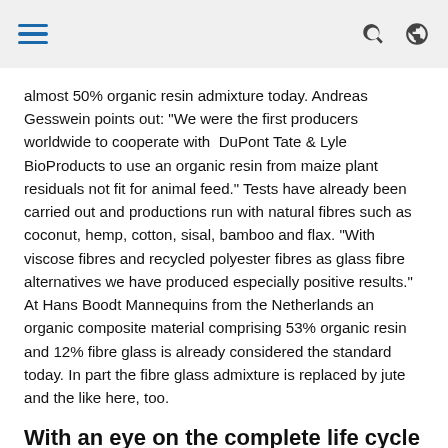[hamburger menu, search icon, globe icon]
almost 50% organic resin admixture today. Andreas Gesswein points out: “We were the first producers worldwide to cooperate with DuPont Tate & Lyle BioProducts to use an organic resin from maize plant residuals not fit for animal feed.” Tests have already been carried out and productions run with natural fibres such as coconut, hemp, cotton, sisal, bamboo and flax. “With viscose fibres and recycled polyester fibres as glass fibre alternatives we have produced especially positive results.” At Hans Boodt Mannequins from the Netherlands an organic composite material comprising 53% organic resin and 12% fibre glass is already considered the standard today. In part the fibre glass admixture is replaced by jute and the like here, too.
With an eye on the complete life cycle
[Figure (other): Teal/mint colored background image block at bottom of page]